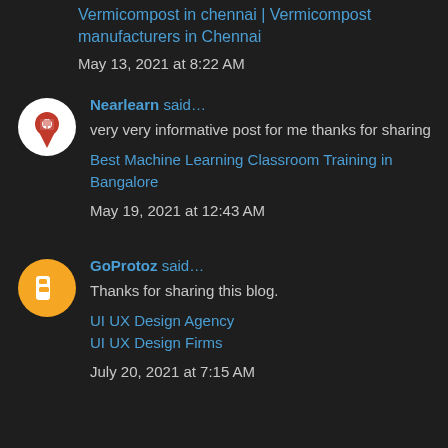Vermicompost in chennai | Vermicompost manufacturers in Chennai
May 13, 2021 at 8:22 AM
Nearlearn said...
very very informative post for me thanks for sharing
Best Machine Learning Classroom Training in Bangalore
May 19, 2021 at 12:43 AM
GoProtoz said...
Thanks for sharing this blog.
UI UX Design Agency
UI UX Design Firms
July 20, 2021 at 7:15 AM